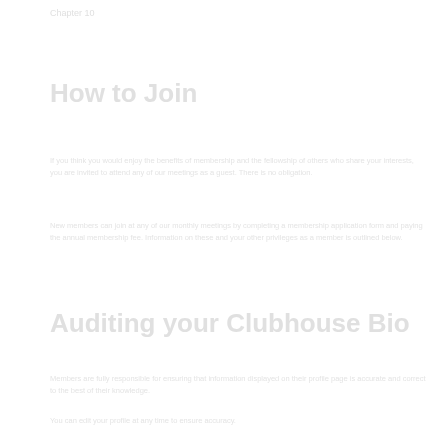Chapter 10
How to Join
If you think you would enjoy the benefits of membership and the fellowship of others who share your interests, you are invited to attend any of our meetings as a guest. There is no obligation.
New members can join at any of our monthly meetings by completing a membership application form and paying the annual membership fee. Information on these and your other privileges as a member is outlined below.
Auditing your Clubhouse Bio
Members are fully responsible for ensuring that information displayed on their profile page is accurate and correct to the best of their knowledge.
You can edit your profile at any time to ensure accuracy.